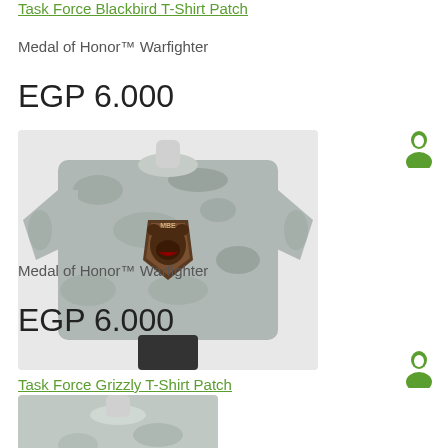Task Force Blackbird T-Shirt Patch
Medal of Honor™ Warfighter
EGP 6.000
[Figure (photo): Gray camouflage t-shirt on a mannequin with a bear patch on the chest (Task Force Grizzly / MBE design)]
Task Force Grizzly T-Shirt Patch
Medal of Honor™ Warfighter
EGP 6.000
[Figure (photo): Gray camouflage t-shirt partially visible at bottom of page]